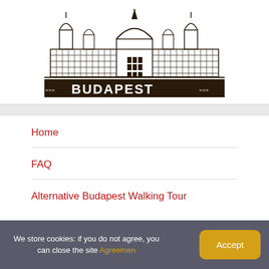[Figure (logo): Budapest Parliament building illustration logo with the word BUDAPEST in bold letters below, decorative border pattern]
Home
FAQ
Alternative Budapest Walking Tour
We store cookies: if you do not agree, you can close the site Agreemen
Accept